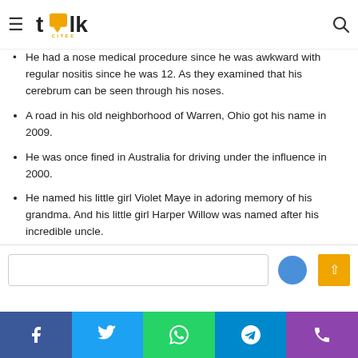blk citee — navigation bar with logo, hamburger menu, and search icon
He had a nose medical procedure since he was awkward with regular nositis since he was 12. As they examined that his cerebrum can be seen through his noses.
A road in his old neighborhood of Warren, Ohio got his name in 2009.
He was once fined in Australia for driving under the influence in 2000.
He named his little girl Violet Maye in adoring memory of his grandma. And his little girl Harper Willow was named after his incredible uncle.
He has filled in as an envoy for environmental change in the Global Cool campaign.
Facebook | Twitter | WhatsApp | Telegram | Phone